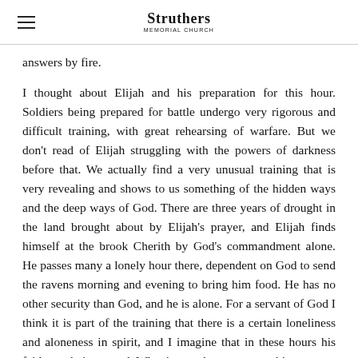Struthers Memorial Church
answers by fire.
I thought about Elijah and his preparation for this hour. Soldiers being prepared for battle undergo very rigorous and difficult training, with great rehearsing of warfare. But we don't read of Elijah struggling with the powers of darkness before that. We actually find a very unusual training that is very revealing and shows to us something of the hidden ways and the deep ways of God. There are three years of drought in the land brought about by Elijah's prayer, and Elijah finds himself at the brook Cherith by God's commandment alone. He passes many a lonely hour there, dependent on God to send the ravens morning and evening to bring him food. He has no other security than God, and he is alone. For a servant of God I think it is part of the training that there is a certain loneliness and aloneness in spirit, and I imagine that in these hours his faith was being tested. What it must have meant to him